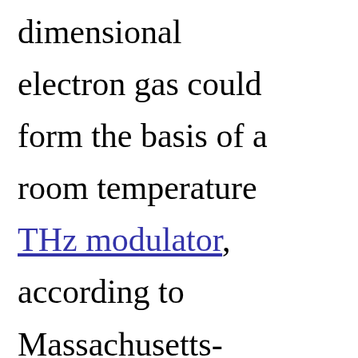dimensional electron gas could form the basis of a room temperature THz modulator, according to Massachusetts-based Tufts University. Through